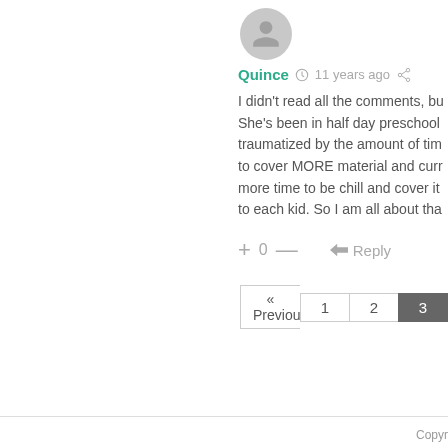[Figure (illustration): Default grey user avatar icon, circular]
Quince  11 years ago
I didn't read all the comments, bu... She's been in half day preschool traumatized by the amount of tim... to cover MORE material and curr... more time to be chill and cover it... to each kid. So I am all about tha...
+ 0 —   Reply
« Previous  1  2  3
Copyr...